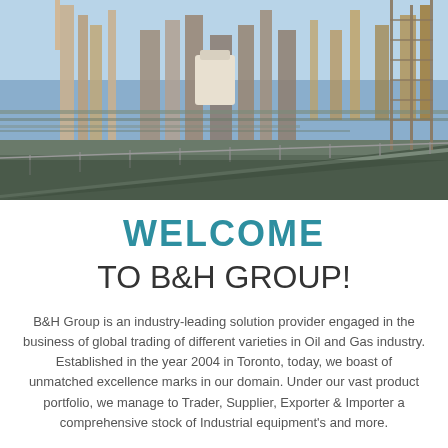[Figure (photo): Aerial/ground-level view of an industrial oil and gas refinery facility with pipes, towers, metal structures and scaffolding under a clear blue sky.]
WELCOME
TO B&H GROUP!
B&H Group is an industry-leading solution provider engaged in the business of global trading of different varieties in Oil and Gas industry. Established in the year 2004 in Toronto, today, we boast of unmatched excellence marks in our domain. Under our vast product portfolio, we manage to Trader, Supplier, Exporter & Importer a comprehensive stock of Industrial equipment's and more.